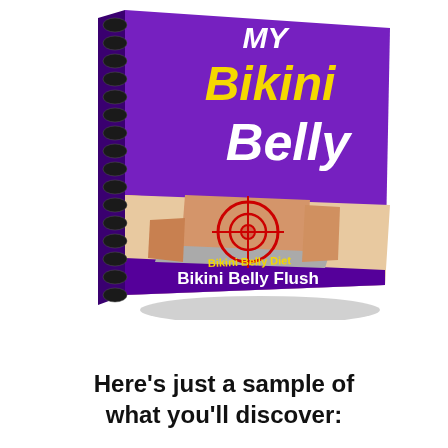[Figure (illustration): A spiral-bound book titled 'MY Bikini Belly' with a purple cover, yellow accent stripe, showing a woman's midsection with a red target/crosshair on the belly area. Bottom of cover shows 'Bikini Belly Diet' in yellow and 'Bikini Belly Flush' in white on a darker purple band.]
Here's just a sample of what you'll discover: